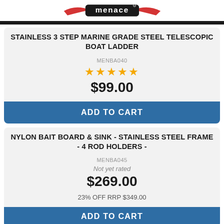[Figure (logo): Menace brand logo with red swoosh and stylized text on white background]
STAINLESS 3 STEP MARINE GRADE STEEL TELESCOPIC BOAT LADDER
MENBA040
★★★★★
$99.00
ADD TO CART
NYLON BAIT BOARD & SINK - STAINLESS STEEL FRAME - 4 ROD HOLDERS -
MENBA045
Not yet rated
$269.00
23% OFF RRP $349.00
ADD TO CART